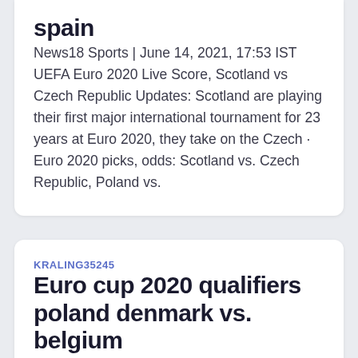spain
News18 Sports | June 14, 2021, 17:53 IST UEFA Euro 2020 Live Score, Scotland vs Czech Republic Updates: Scotland are playing their first major international tournament for 23 years at Euro 2020, they take on the Czech · Euro 2020 picks, odds: Scotland vs. Czech Republic, Poland vs.
KRALING35245
Euro cup 2020 qualifiers poland denmark vs. belgium